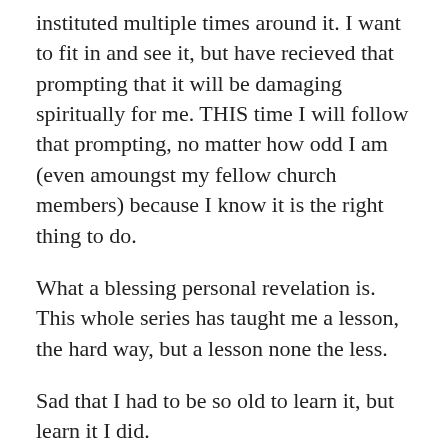instituted multiple times around it. I want to fit in and see it, but have recieved that prompting that it will be damaging spiritually for me. THIS time I will follow that prompting, no matter how odd I am (even amoungst my fellow church members) because I know it is the right thing to do.
What a blessing personal revelation is. This whole series has taught me a lesson, the hard way, but a lesson none the less.
Sad that I had to be so old to learn it, but learn it I did.
You are incredibly brave for standing for what we believe in. There are going to be so many people that will have nasty